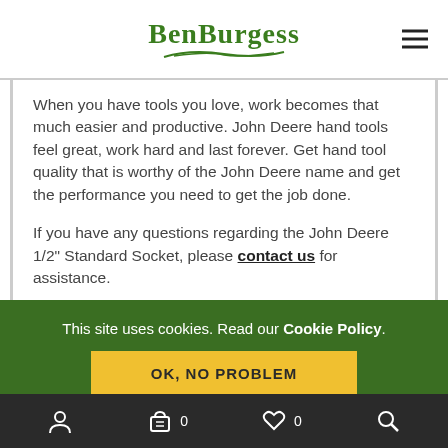BenBurgess
When you have tools you love, work becomes that much easier and productive. John Deere hand tools feel great, work hard and last forever. Get hand tool quality that is worthy of the John Deere name and get the performance you need to get the job done.
If you have any questions regarding the John Deere 1/2" Standard Socket, please contact us for assistance.
This site uses cookies. Read our Cookie Policy.
OK, NO PROBLEM
0  0